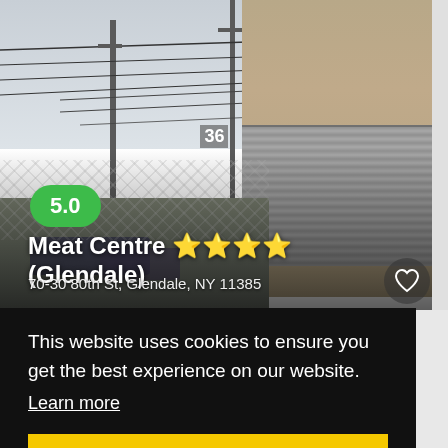[Figure (photo): Street view photo of Meat Centre restaurant location showing utility poles, wires, a building with garage door numbered 36, parked cars]
5.0
Meat Centre 🇮🇱🇮🇱🇮🇱🇮🇱 (Glendale)
70-30 80th St, Glendale, NY 11385
This website uses cookies to ensure you get the best experience on our website.
Learn more
Got it!
[Figure (photo): Partial view of food image at bottom of page]